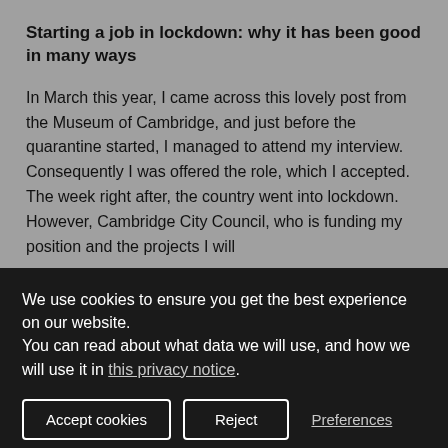Starting a job in lockdown: why it has been good in many ways
In March this year, I came across this lovely post from the Museum of Cambridge, and just before the quarantine started, I managed to attend my interview. Consequently I was offered the role, which I accepted. The week right after, the country went into lockdown. However, Cambridge City Council, who is funding my position and the projects I will
We use cookies to ensure you get the best experience on our website.
You can read about what data we will use, and how we will use it in this privacy notice.